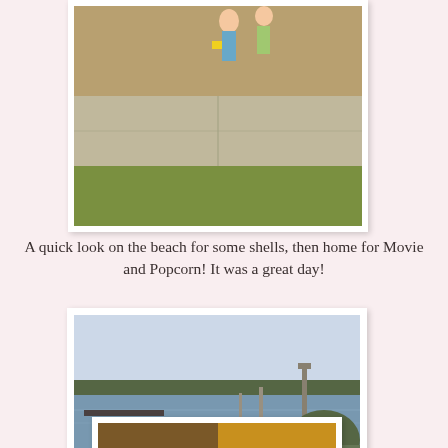[Figure (photo): Top cropped photo showing children on a beach/sandy area near a sidewalk, partially cut off at top]
A quick look on the beach for some shells, then home for Movie and Popcorn! It was a great day!
[Figure (photo): Photo of two children playing on a sandy beach area near a waterfront park with a lake, trees, and lamp posts in the background]
[Figure (photo): Bottom partially visible photo, appears to show a close-up of something brownish, partially cropped at page bottom]